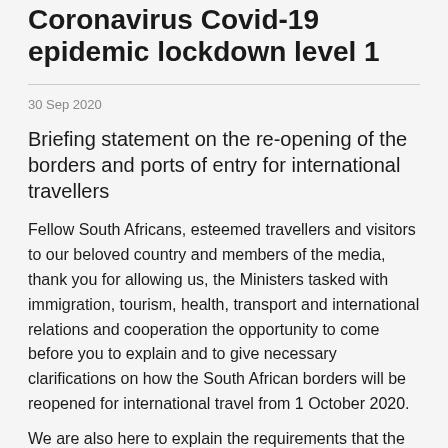Coronavirus Covid-19 epidemic lockdown level 1
30 Sep 2020
Briefing statement on the re-opening of the borders and ports of entry for international travellers
Fellow South Africans, esteemed travellers and visitors to our beloved country and members of the media, thank you for allowing us, the Ministers tasked with immigration, tourism, health, transport and international relations and cooperation the opportunity to come before you to explain and to give necessary clarifications on how the South African borders will be reopened for international travel from 1 October 2020.
We are also here to explain the requirements that the